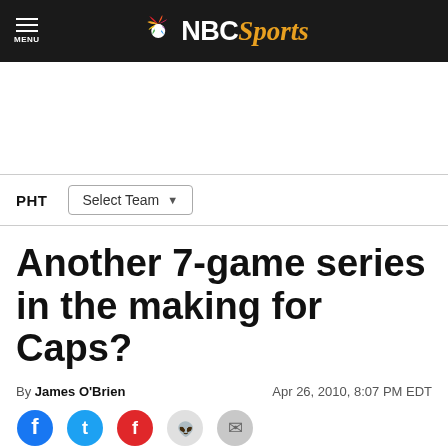NBC Sports
PHT   Select Team
Another 7-game series in the making for Caps?
By James O'Brien   Apr 26, 2010, 8:07 PM EDT